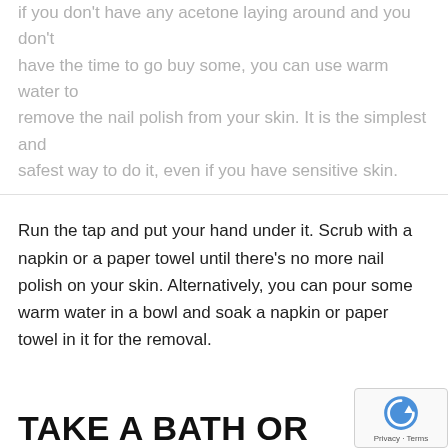If you don't have any acetone laying around and you don't have the time to go buy some, you can use warm water to remove the nail polish from your skin. It is the simplest and safest way to do it, even if you have sensitive skin.
Run the tap and put your hand under it. Scrub with a napkin or a paper towel until there's no more nail polish on your skin. Alternatively, you can pour some warm water in a bowl and soak a napkin or paper towel in it for the removal.
TAKE A BATH OR SHOWER
You can also take a shower if there are multiple large stains, especially if they're dried. Shower or bathe with warm water and soap and use a mild washcloth to remove the nail polish. Warm water will facilitate the process.